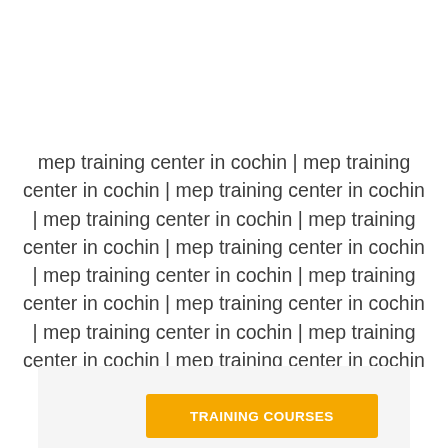mep training center in cochin | mep training center in cochin | mep training center in cochin | mep training center in cochin | mep training center in cochin | mep training center in cochin | mep training center in cochin | mep training center in cochin | mep training center in cochin | mep training center in cochin | mep training center in cochin | mep training center in cochin | mep training center in cochin
TRAINING COURSES